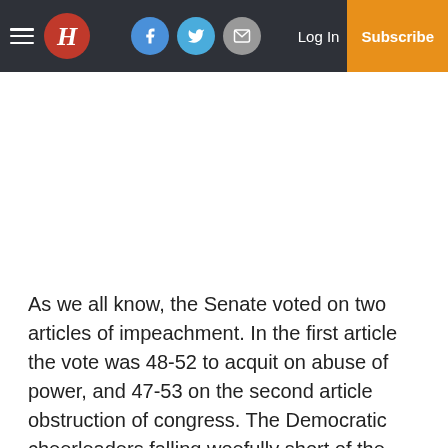H | Facebook | Twitter | Mail | Log In | Subscribe
As we all know, the Senate voted on two articles of impeachment. In the first article the vote was 48-52 to acquit on abuse of power, and 47-53 on the second article obstruction of congress. The Democratic cheerleaders falling woefully short of the two third vote required to convict and remove from